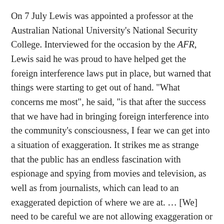On 7 July Lewis was appointed a professor at the Australian National University's National Security College. Interviewed for the occasion by the AFR, Lewis said he was proud to have helped get the foreign interference laws put in place, but warned that things were starting to get out of hand. "What concerns me most", he said, "is that after the success that we have had in bringing foreign interference into the community's consciousness, I fear we can get into a situation of exaggeration. It strikes me as strange that the public has an endless fascination with espionage and spying from movies and television, as well as from journalists, which can lead to an exaggerated depiction of where we are at. … [We] need to be careful we are not allowing exaggeration or shrillness to enter the dialogue." And in remarks to ABC News the same day, Lewis added: "There has been an over-egging of some of the claims [of foreign interference]. … My concern is that we don't